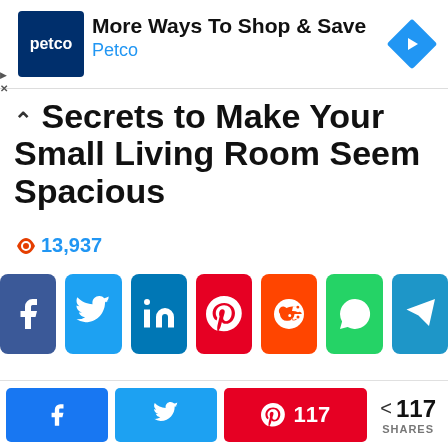[Figure (infographic): Petco advertisement banner with logo, headline 'More Ways To Shop & Save', 'Petco' subtext in blue, and a blue navigation diamond icon on the right]
Secrets to Make Your Small Living Room Seem Spacious
🔥 13,937
[Figure (infographic): Row of 7 social share buttons: Facebook (blue), Twitter (light blue), LinkedIn (dark blue), Pinterest (red), Reddit (orange-red), WhatsApp (green), Telegram (blue)]
[Figure (infographic): Bottom share bar with Facebook button, Twitter button, Pinterest button showing count 117, and share count 117 SHARES]